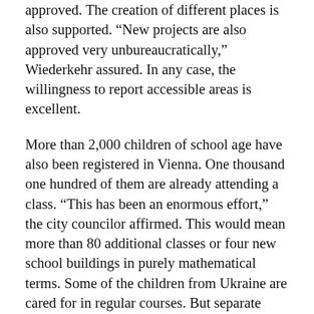approved. The creation of different places is also supported. “New projects are also approved very unbureaucratically,” Wiederkehr assured. In any case, the willingness to report accessible areas is excellent.
More than 2,000 children of school age have also been registered in Vienna. One thousand one hundred of them are already attending a class. “This has been an enormous effort,” the city councilor affirmed. This would mean more than 80 additional classes or four new school buildings in purely mathematical terms. Some of the children from Ukraine are cared for in regular courses. But separate classes just for young refugees have already been set up. Wiederkehr emphasized that efforts are also being made to recruit additional teachers quickly.